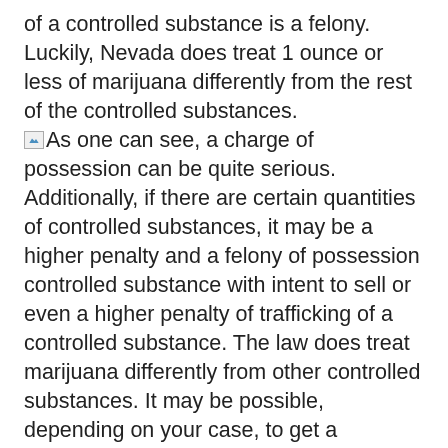of a controlled substance is a felony. Luckily, Nevada does treat 1 ounce or less of marijuana differently from the rest of the controlled substances. [image: domestic] As one can see, a charge of possession can be quite serious. Additionally, if there are certain quantities of controlled substances, it may be a higher penalty and a felony of possession controlled substance with intent to sell or even a higher penalty of trafficking of a controlled substance. The law does treat marijuana differently from other controlled substances. It may be possible, depending on your case, to get a dismissal, reduce the charges, or avoid jail time. Contact the Law Offices of Garrett T. Ogata, an experienced drug charges attorney, for a free consultation to explain your charges and possible defenses for possession of controlled substances at 702-825-7856.